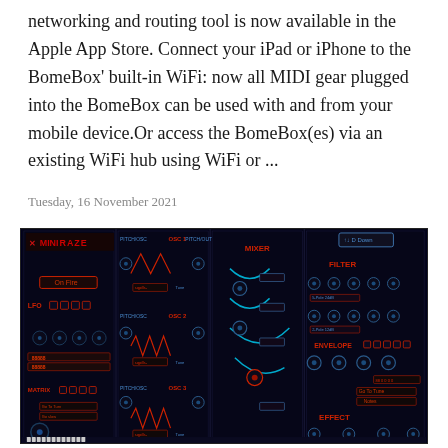networking and routing tool is now available in the Apple App Store. Connect your iPad or iPhone to the BomeBox' built-in WiFi: now all MIDI gear plugged into the BomeBox can be used with and from your mobile device.Or access the BomeBox(es) via an existing WiFi hub using WiFi or ...
Tuesday, 16 November 2021
[Figure (screenshot): Screenshot of MiniRaze synthesizer plugin interface with dark background, showing multiple oscillator sections (OSC 1, OSC 2, OSC 3), LFO, MIXER, FILTER, ENVELOPE, and EFFECT sections in red and cyan on a dark blue/black background.]